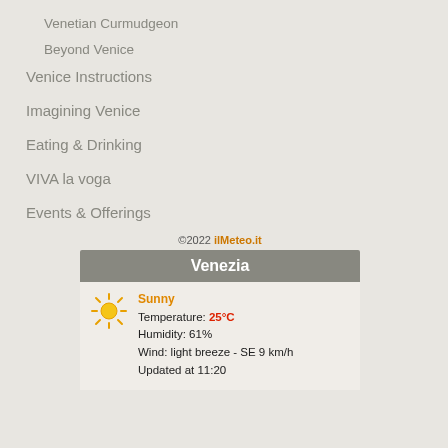Venetian Curmudgeon
Beyond Venice
Venice Instructions
Imagining Venice
Eating & Drinking
VIVA la voga
Events & Offerings
©2022 ilMeteo.it
[Figure (infographic): Weather widget for Venezia showing sunny conditions, 25°C temperature, 61% humidity, light breeze SE 9 km/h, updated at 11:20]